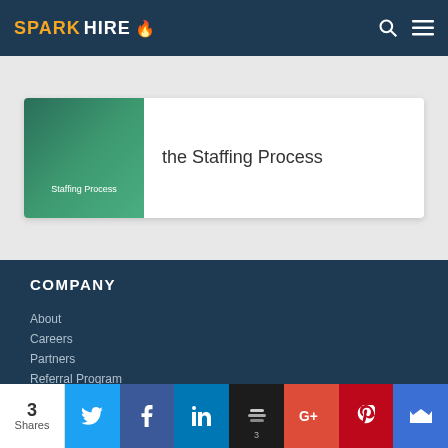SPARK HIRE
[Figure (screenshot): Card with book cover thumbnail showing 'Staffing Process' and text 'the Staffing Process']
COMPANY
About
Careers
Partners
Referral Program
Press
3 Shares | Twitter | Facebook | LinkedIn | Buffer 3 | G+ | Pinterest | Crown